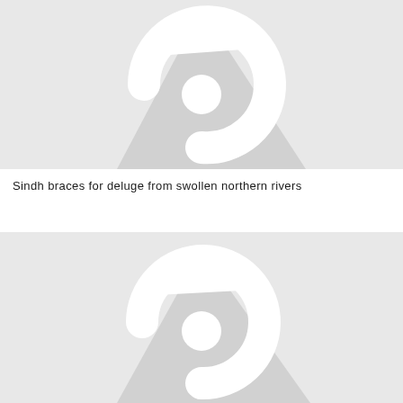[Figure (illustration): Placeholder image with stylized circular arrow icon with shadow effect on light grey background]
Sindh braces for deluge from swollen northern rivers
[Figure (illustration): Second placeholder image with similar stylized circular arrow icon with shadow effect on light grey background]